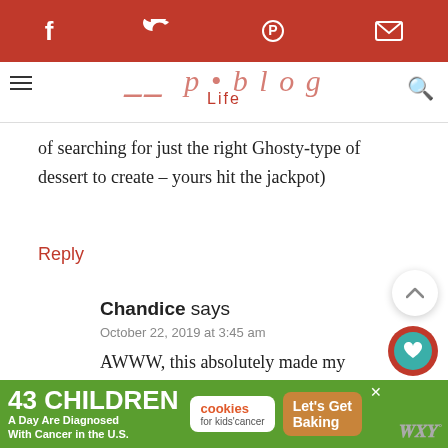[Figure (screenshot): Red navigation header bar with social media icons: Facebook (f), Twitter bird, Pinterest (P), and email envelope]
[Figure (logo): Blog site header with script text and 'Life' in red]
of searching for just the right Ghosty-type of dessert to create – yours hit the jackpot)
Reply
Chandice says
October 22, 2019 at 3:45 am
AWWW, this absolutely made my day!! Thank you so much for taking the time to let me kno
[Figure (screenshot): Advertisement banner: 43 CHILDREN A Day Are Diagnosed With Cancer in the U.S. cookies for kids cancer Let's Get Baking]